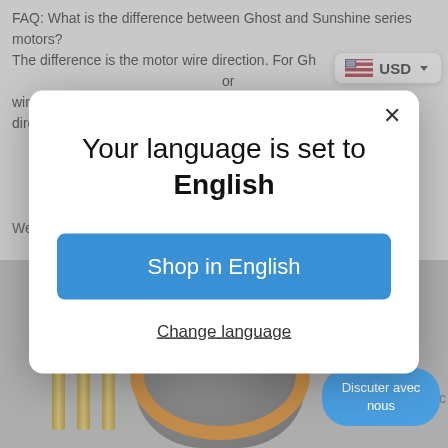FAQ: What is the difference between Ghost and Sunshine series motors?
The difference is the motor wire direction. For Ghost series motors, wires and shafts at the same direction. Sunshine series different direction
[Figure (screenshot): Currency selector badge showing US flag and USD with dropdown arrow]
We welcome OEM orders. KV value, motor color, logo all can be ...
[Figure (screenshot): Language selection modal dialog. Title: Your language is set to English. Button: Shop in English. Link: Change language.]
[Figure (photo): Brushless motor with orange ring and gold connector pins, with Discuter avec nous chat button overlay]